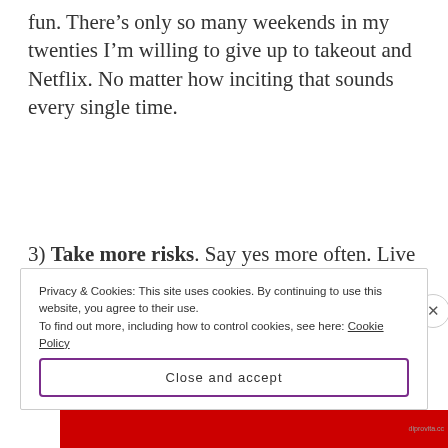fun. There’s only so many weekends in my twenties I’m willing to give up to takeout and Netflix. No matter how inciting that sounds every single time.
3) Take more risks. Say yes more often. Live a little outside my comfort zone. If history serves, the best adventures typically result from these instances.
Privacy & Cookies: This site uses cookies. By continuing to use this website, you agree to their use.
To find out more, including how to control cookies, see here: Cookie Policy
Close and accept